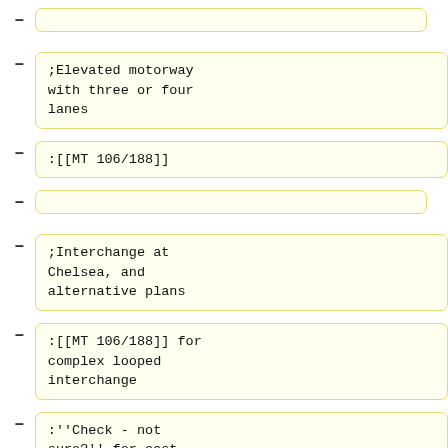;Elevated motorway with three or four lanes
:[[MT 106/188]]
;Interchange at Chelsea, and alternative plans
:[[MT 106/188]] for complex looped interchange
:''Check - not sure?'' for east-facing directional interchange